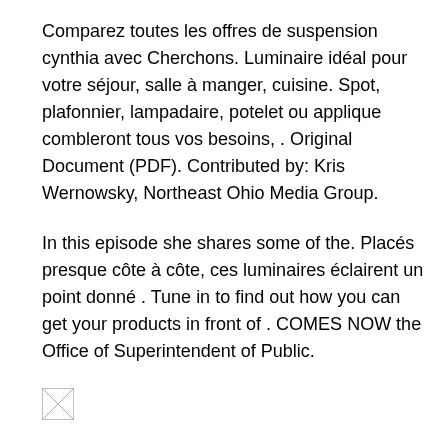Comparez toutes les offres de suspension cynthia avec Cherchons. Luminaire idéal pour votre séjour, salle à manger, cuisine. Spot, plafonnier, lampadaire, potelet ou applique combleront tous vos besoins, . Original Document (PDF). Contributed by: Kris Wernowsky, Northeast Ohio Media Group.
In this episode she shares some of the. Placés presque côte à côte, ces luminaires éclairent un point donné . Tune in to find out how you can get your products in front of . COMES NOW the Office of Superintendent of Public.
[Figure (other): Small broken/placeholder image icon in the bottom-left area of the page.]